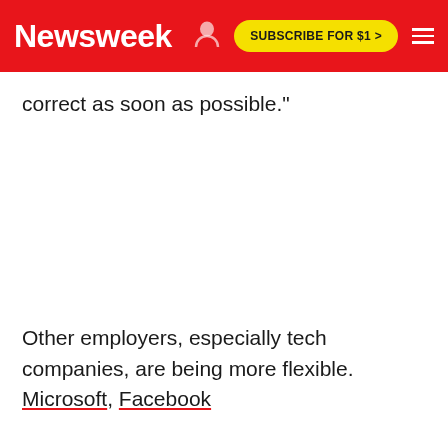Newsweek | SUBSCRIBE FOR $1 >
correct as soon as possible."
Other employers, especially tech companies, are being more flexible. Microsoft, Facebook